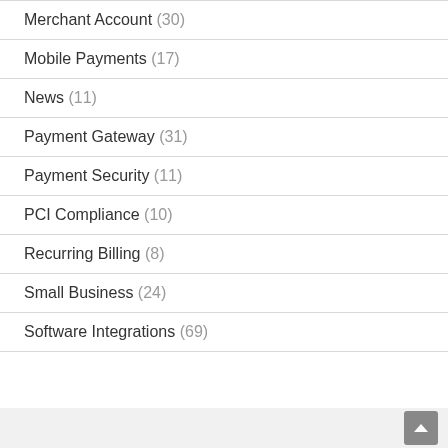Merchant Account (30)
Mobile Payments (17)
News (11)
Payment Gateway (31)
Payment Security (11)
PCI Compliance (10)
Recurring Billing (8)
Small Business (24)
Software Integrations (69)